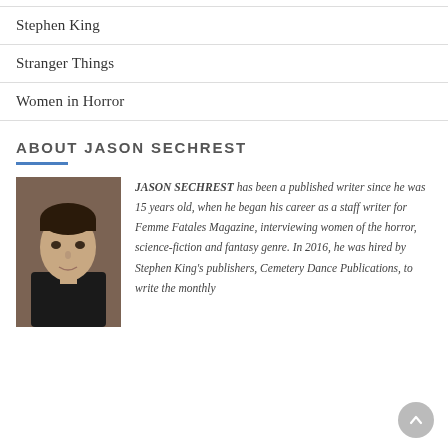Stephen King
Stranger Things
Women in Horror
ABOUT JASON SECHREST
[Figure (photo): Headshot photo of Jason Sechrest, a man with dark hair wearing a black jacket]
JASON SECHREST has been a published writer since he was 15 years old, when he began his career as a staff writer for Femme Fatales Magazine, interviewing women of the horror, science-fiction and fantasy genre. In 2016, he was hired by Stephen King's publishers, Cemetery Dance Publications, to write the monthly